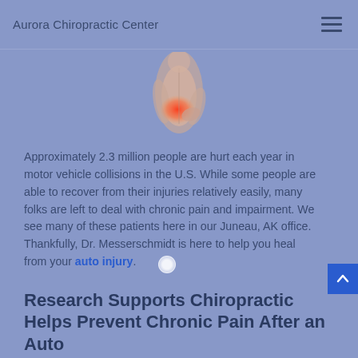Aurora Chiropractic Center
[Figure (photo): Person holding their lower back with a red highlighted area indicating pain, visible from behind/side angle]
Approximately 2.3 million people are hurt each year in motor vehicle collisions in the U.S. While some people are able to recover from their injuries relatively easily, many folks are left to deal with chronic pain and impairment. We see many of these patients here in our Juneau, AK office. Thankfully, Dr. Messerschmidt is here to help you heal from your auto injury.
Research Supports Chiropractic Helps Prevent Chronic Pain After an Auto